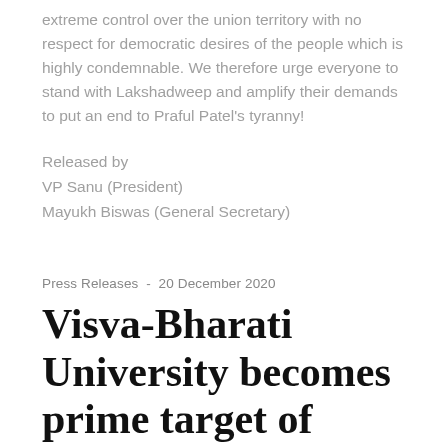extreme control over the union territory with no respect for democratic desires of the people which is highly condemnable. We therefore urge everyone to stand with Lakshadweep and amplify their demands to put an end to Praful Patel's tyranny!
Released by
VP Sanu (President)
Mayukh Biswas (General Secretary)
Press Releases  -  20 December 2020
Visva-Bharati University becomes prime target of saffron brigade